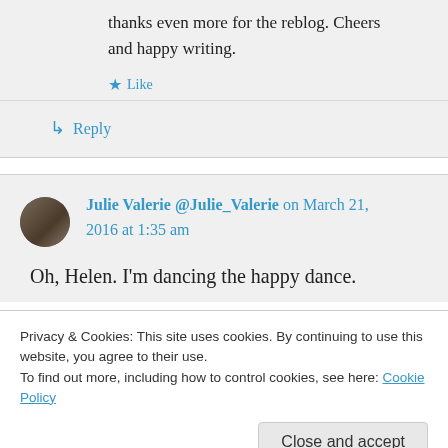thanks even more for the reblog. Cheers and happy writing.
★ Like
↳ Reply
Julie Valerie @Julie_Valerie on March 21, 2016 at 1:35 am
Oh, Helen. I'm dancing the happy dance.
Privacy & Cookies: This site uses cookies. By continuing to use this website, you agree to their use.
To find out more, including how to control cookies, see here: Cookie Policy
Close and accept